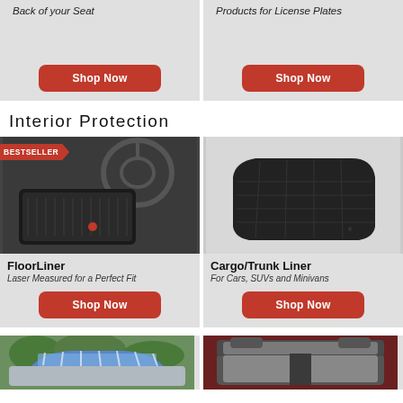Back of your Seat
[Figure (other): Shop Now button for Back of your Seat category]
Products for License Plates
[Figure (other): Shop Now button for Products for License Plates category]
Interior Protection
[Figure (photo): FloorLiner product photo - black floor mat in car interior with BESTSELLER badge]
FloorLiner
Laser Measured for a Perfect Fit
[Figure (other): Shop Now button for FloorLiner]
[Figure (photo): Cargo/Trunk Liner product photo - black rubber cargo mat on white background]
Cargo/Trunk Liner
For Cars, SUVs and Minivans
[Figure (other): Shop Now button for Cargo/Trunk Liner]
[Figure (photo): Partial product photo - windshield sun shade on car]
[Figure (photo): Partial product photo - seat cover in red vehicle interior]